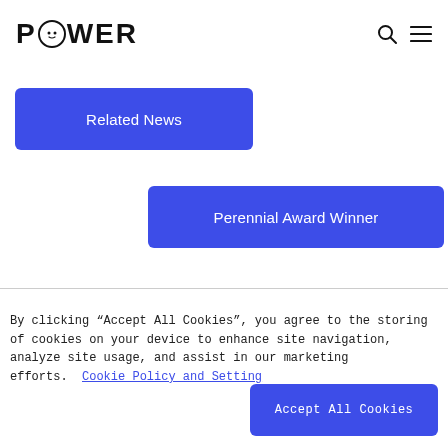POWER
Related News
Perennial Award Winner
By clicking “Accept All Cookies”, you agree to the storing of cookies on your device to enhance site navigation, analyze site usage, and assist in our marketing efforts. Cookie Policy and Setting
Accept All Cookies